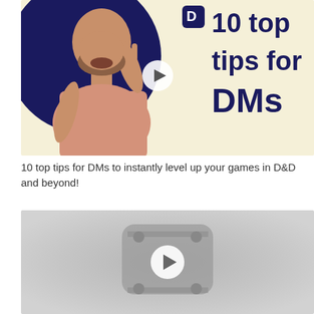[Figure (screenshot): Video thumbnail showing a man pointing upward with one finger, against a cream/beige background with a navy blue circle behind him. Text on the right reads '10 top tips for DMs' in large bold navy font with a play button overlay.]
10 top tips for DMs to instantly level up your games in D&D and beyond!
[Figure (screenshot): A second video thumbnail placeholder shown in gray tones with a YouTube-style play button icon in the center.]